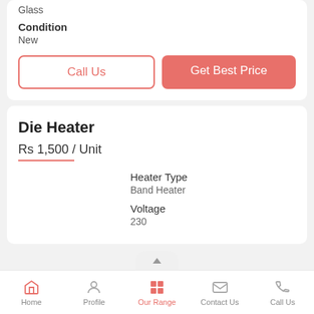Glass
Condition
New
Call Us
Get Best Price
Die Heater
Rs 1,500 / Unit
Heater Type
Band Heater
Voltage
230
Home | Profile | Our Range | Contact Us | Call Us